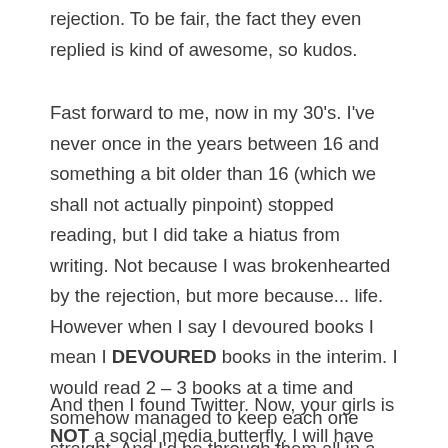rejection. To be fair, the fact they even replied is kind of awesome, so kudos.
Fast forward to me, now in my 30's. I've never once in the years between 16 and something a bit older than 16 (which we shall not actually pinpoint) stopped reading, but I did take a hiatus from writing. Not because I was brokenhearted by the rejection, but more because... life. However when I say I devoured books I mean I DEVOURED books in the interim. I would read 2 – 3 books at a time and somehow managed to keep each one straight. And I'd be through them all in a couple of days and on to the next round. I loved the written word.
And then I found Twitter. Now, your girls is NOT a social media butterfly. I will have good intentions and give